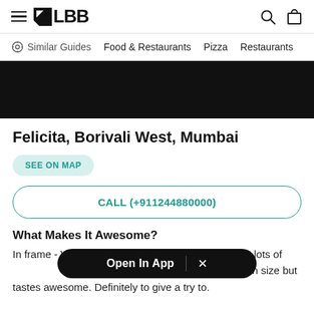≡ LBB
Similar Guides  Food & Restaurants  Pizza  Restaurants
[Figure (photo): Black band image area (cropped photo background)]
Felicita, Borivali West, Mumbai
SEE ON MAP
CALL (+911244880000)
What Makes It Awesome?
In frame - Veggi[Open In App overlay]ita cafe Definitely lots of vegg[...] pizzas, you gonna love this. Small in size but tastes awesome. Definitely to give a try to.